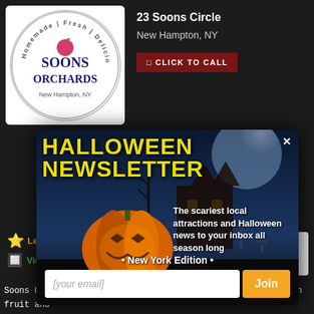[Figure (logo): Soons Orchards circular logo with apple, text: Homemade Fresh Delicious, New Hampton NY]
23 Soons Circle
New Hampton, NY
CLICK TO CALL
[Figure (screenshot): Halloween Newsletter popup overlay on dark background. Shows jack-o-lantern pumpkin and haunted house. Title: HALLOWEEN NEWSLETTER with X close button. Text: The scariest local attractions and Halloween news to your inbox all season long. New York Edition. Email input field with placeholder [your email] and orange Join button.]
Leave A Review
Share Your Photos
View Pics & Videos
Soons Orchards is 100 years old and going strong! Homegrown fruit and